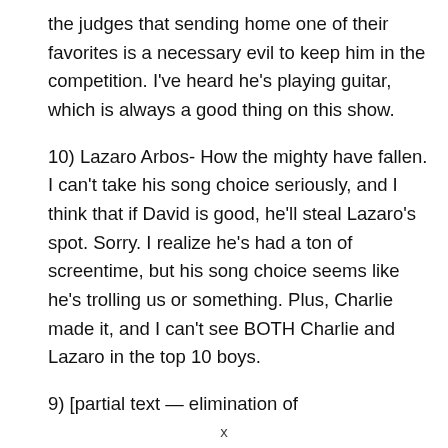the judges that sending home one of their favorites is a necessary evil to keep him in the competition. I've heard he's playing guitar, which is always a good thing on this show.
10) Lazaro Arbos- How the mighty have fallen. I can't take his song choice seriously, and I think that if David is good, he'll steal Lazaro's spot. Sorry. I realize he's had a ton of screentime, but his song choice seems like he's trolling us or something. Plus, Charlie made it, and I can't see BOTH Charlie and Lazaro in the top 10 boys.
9) [partial/truncated line]
x